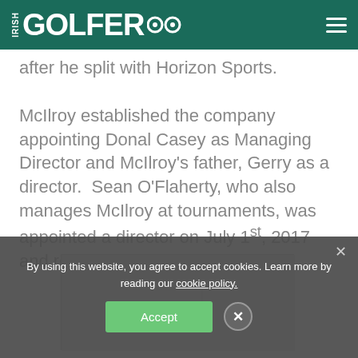IRISH GOLFER
after he split with Horizon Sports.
McIlroy established the company appointing Donal Casey as Managing Director and McIlroy's father, Gerry as a director.  Sean O'Flaherty, who also manages McIlroy at tournaments, was appointed a director on July 1st, 2017 and replaced Barry Funston.
[Figure (photo): Embedded image placeholder with grey background and border]
By using this website, you agree to accept cookies. Learn more by reading our cookie policy.